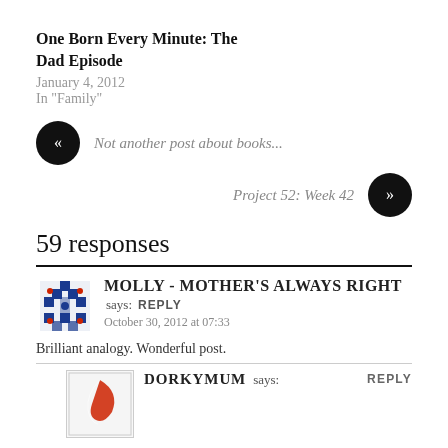One Born Every Minute: The Dad Episode
January 4, 2012
In "Family"
Not another post about books...
Project 52: Week 42
59 responses
Molly - Mother's Always Right says: REPLY
October 30, 2012 at 07:33
Brilliant analogy. Wonderful post.
DORKYMUM says: REPLY